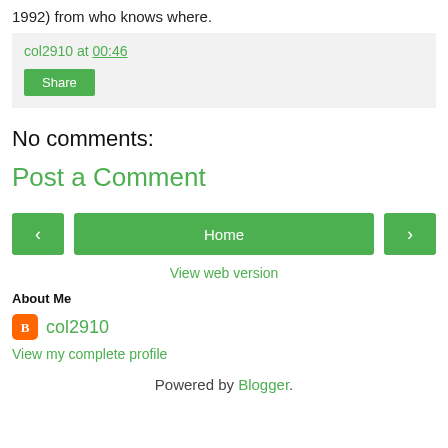1992) from who knows where.
col2910 at 00:46
Share
No comments:
Post a Comment
< Home >
View web version
About Me
col2910
View my complete profile
Powered by Blogger.